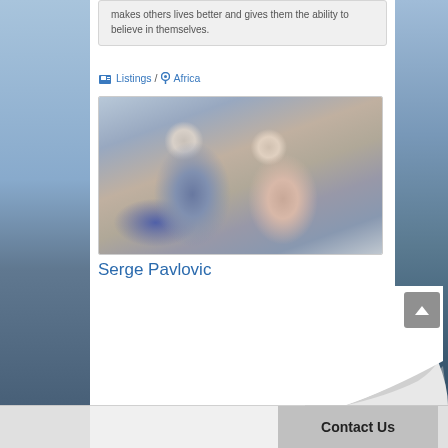makes others lives better and gives them the ability to believe in themselves.
Listings / Africa
[Figure (photo): A man with grey hair in a blue checked shirt kissing a woman with blonde hair on the cheek. The woman is smiling with eyes closed, wearing a grey floral blouse.]
Serge Pavlovic
Contact Us